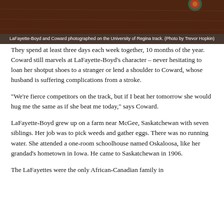[Figure (photo): LaFayette-Boyd and Coward photographed on the University of Regina track. Dark reddish-brown track surface visible with lane markings.]
LaFayette-Boyd and Coward photographed on the University of Regina track. (Photo by Trevor Hopkin)
They spend at least three days each week together, 10 months of the year. Coward still marvels at LaFayette-Boyd’s character – never hesitating to loan her shotput shoes to a stranger or lend a shoulder to Coward, whose husband is suffering complications from a stroke.
“We’re fierce competitors on the track, but if I beat her tomorrow she would hug me the same as if she beat me today,” says Coward.
LaFayette-Boyd grew up on a farm near McGee, Saskatchewan with seven siblings. Her job was to pick weeds and gather eggs. There was no running water. She attended a one-room schoolhouse named Oskaloosa, like her grandad’s hometown in Iowa. He came to Saskatchewan in 1906.
The LaFayettes were the only African-Canadian family in